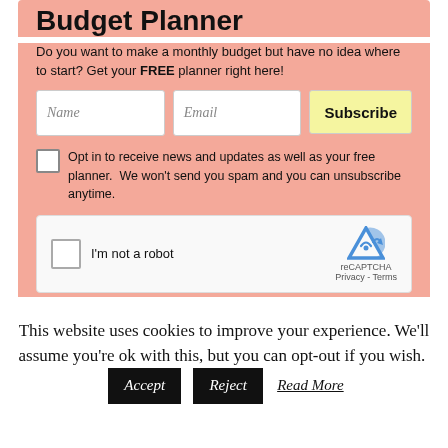Budget Planner
Do you want to make a monthly budget but have no idea where to start? Get your FREE planner right here!
[Figure (screenshot): Email subscription form with Name field, Email field, and Subscribe button]
Opt in to receive news and updates as well as your free planner.  We won't send you spam and you can unsubscribe anytime.
[Figure (screenshot): reCAPTCHA widget with checkbox and I'm not a robot label]
This website uses cookies to improve your experience. We'll assume you're ok with this, but you can opt-out if you wish. Accept Reject Read More